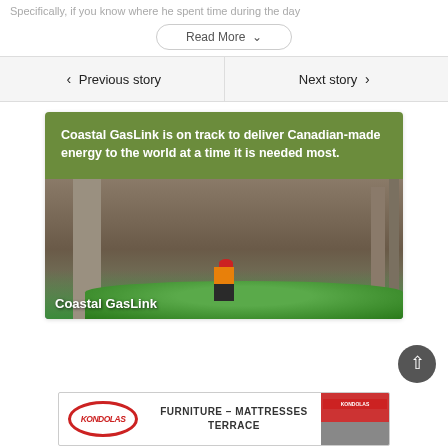Specifically, if you know where he spent time during the day
Read More ▾
◀ Previous story
Next story ▶
[Figure (photo): Coastal GasLink advertisement card with green header reading 'Coastal GasLink is on track to deliver Canadian-made energy to the world at a time it is needed most.' and a construction site photo of a worker in hard hat and safety vest with large green pipes and concrete pillars. 'Coastal GasLink' label overlaid on photo.]
[Figure (other): Kondolas Furniture - Mattresses Terrace advertisement banner with oval logo, text 'FURNITURE - MATTRESSES TERRACE', and store photo.]